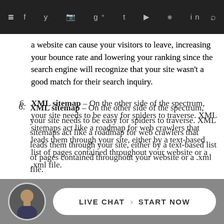Navigation bar with menu, social icons, and search
a website can cause your visitors to leave, increasing your bounce rate and lowering your ranking since the search engine will recognize that your site wasn't a good match for their search inquiry.
6. XML sitemap – On the other side of the spectrum, your site needs to be easy for spiders to traverse. XML sitemaps act like a roadmap for web crawlers that leads them through your site, either by a text-based list of pages contained throughout your website or a .xml file.
While these aren't the end-all-be-all factors that contribute to a higher ranking in Google, they are strong factors that can get you started.
ourse, if you need more in-depth
[Figure (photo): Live chat widget at bottom with avatar photo and 'LIVE CHAT › START NOW' button]